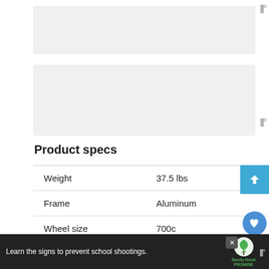[Figure (photo): Product image area (partially visible at top)]
Product specs
| Weight | 37.5 lbs |
| Frame | Aluminum |
| Wheel size | 700c |
| Suspension | Full suspension |
| Gear | 7-speed |
Learn the signs to prevent school shootings.